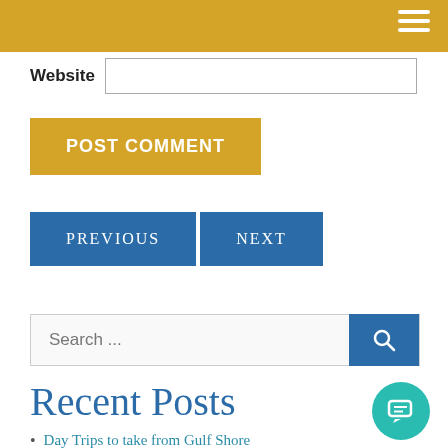Website
POST COMMENT
PREVIOUS   NEXT
Search ...
Recent Posts
Day Trips to take from Gulf Shor...
Dog Friendly locations on the Alabama Gulf Coast!